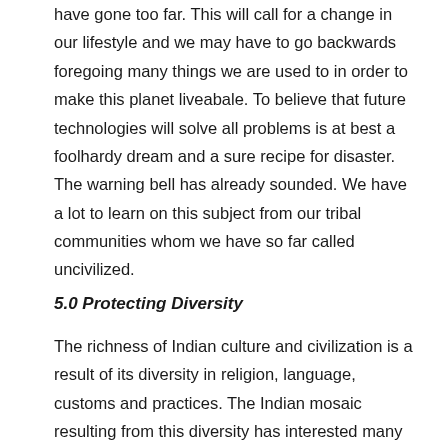have gone too far. This will call for a change in our lifestyle and we may have to go backwards foregoing many things we are used to in order to make this planet liveabale. To believe that future technologies will solve all problems is at best a foolhardy dream and a sure recipe for disaster. The warning bell has already sounded. We have a lot to learn on this subject from our tribal communities whom we have so far called uncivilized.
5.0 Protecting Diversity
The richness of Indian culture and civilization is a result of its diversity in religion, language, customs and practices. The Indian mosaic resulting from this diversity has interested many personalities in the world and they have wondered at the seemingly impossible unity of the nation. We have borrowed the best from all religions, languages, music and art and woven them into our daily lives. This has been our strength and different varieties have learnt to live together in this land called